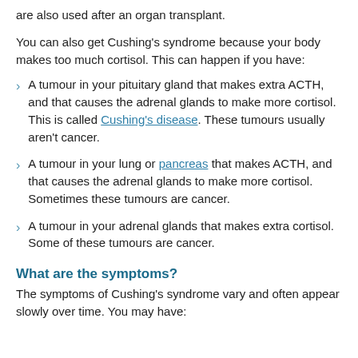are also used after an organ transplant.
You can also get Cushing's syndrome because your body makes too much cortisol. This can happen if you have:
A tumour in your pituitary gland that makes extra ACTH, and that causes the adrenal glands to make more cortisol. This is called Cushing's disease. These tumours usually aren't cancer.
A tumour in your lung or pancreas that makes ACTH, and that causes the adrenal glands to make more cortisol. Sometimes these tumours are cancer.
A tumour in your adrenal glands that makes extra cortisol. Some of these tumours are cancer.
What are the symptoms?
The symptoms of Cushing's syndrome vary and often appear slowly over time. You may have: